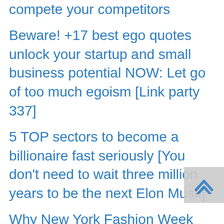compete your competitors
Beware! +17 best ego quotes unlock your startup and small business potential NOW: Let go of too much egoism [Link party 337]
5 TOP sectors to become a billionaire fast seriously [You don't need to wait three million years to be the next Elon Musk]
Why New York Fashion Week (NYFW) matters for epic entrepreneurs and link party 336
Meaningful ways to welcome new clients – How to show excitement and eagerness [3